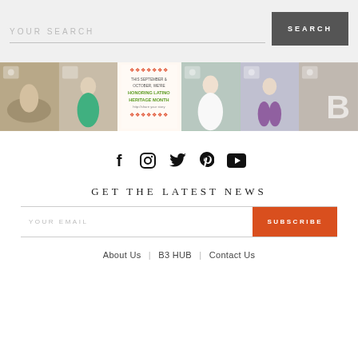YOUR SEARCH | SEARCH
[Figure (photo): Horizontal strip of 6 Instagram-style fitness/workout photos including women exercising, a Latino Heritage Month graphic, and a B3 logo group photo]
[Figure (infographic): Social media icons: Facebook, Instagram, Twitter, Pinterest, YouTube]
GET THE LATEST NEWS
YOUR EMAIL | SUBSCRIBE
About Us | B3 HUB | Contact Us